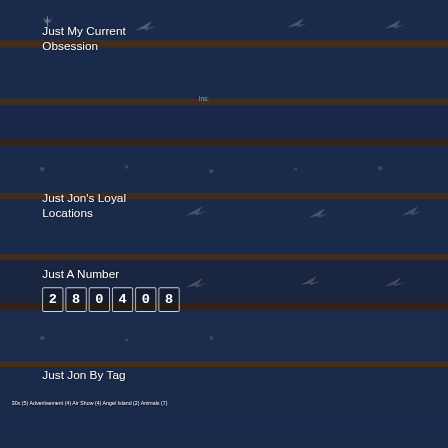Just My Current Obsession
Ins:
Just Jon's Loyal Locations
Just A Number
280408
Just Jon By Tag
30x (5) Advertisement (4) Air Show (4) Angel Island (2) Animals (7)